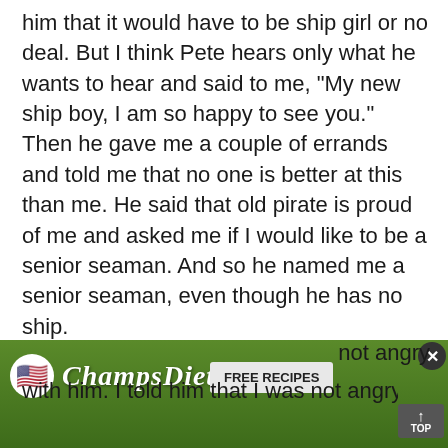him that it would have to be ship girl or no deal. But I think Pete hears only what he wants to hear and said to me, "My new ship boy, I am so happy to see you." Then he gave me a couple of errands and told me that no one is better at this than me. He said that old pirate is proud of me and asked me if I would like to be a senior seaman. And so he named me a senior seaman, even though he has no ship.

He said that he was sorry that he did not have what I was looking for for the Mystery
[Figure (infographic): ChampsDiet advertisement banner with US flag icon, italic brand name 'ChampsDiet', food background image, 'FREE RECIPES' button, and close X button]
not angry with him. I told him that I was not angry with